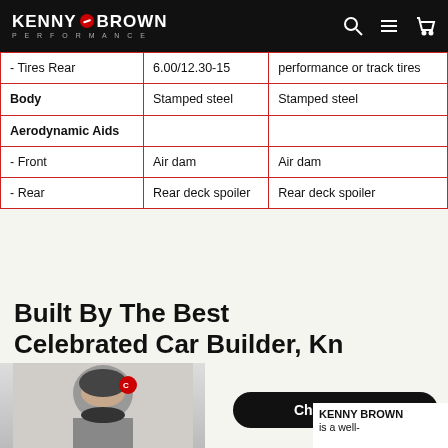KENNY BROWN PERFORMANCE
| - Tires Rear | 6.00/12.30-15 | performance or track tires |
| Body | Stamped steel | Stamped steel |
| Aerodynamic Aids |  |  |
| - Front | Air dam | Air dam |
| - Rear | Rear deck spoiler | Rear deck spoiler |
Built By The Best Celebrated Car Builder, Kenny Brown
[Figure (photo): Photo of a person wearing a cap with a logo, and text block beginning 'KENNY BROWN is a well-']
KENNY BROWN is a well-